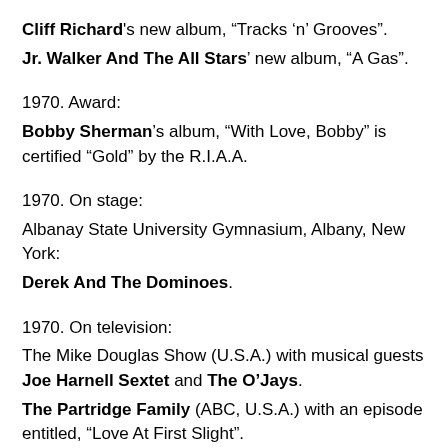Cliff Richard's new album, “Tracks ‘n’ Grooves”.
Jr. Walker And The All Stars’ new album, “A Gas”.
1970. Award:
Bobby Sherman’s album, “With Love, Bobby” is certified “Gold” by the R.I.A.A.
1970. On stage:
Albanay State University Gymnasium, Albany, New York:
Derek And The Dominoes.
1970. On television:
The Mike Douglas Show (U.S.A.) with musical guests Joe Harnell Sextet and The O’Jays.
The Partridge Family (ABC, U.S.A.) with an episode entitled, “Love At First Slight”.